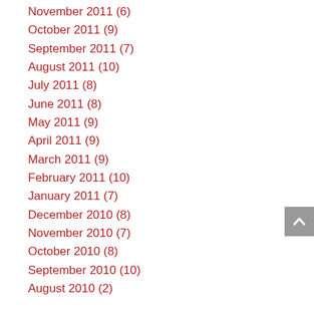November 2011 (6)
October 2011 (9)
September 2011 (7)
August 2011 (10)
July 2011 (8)
June 2011 (8)
May 2011 (9)
April 2011 (9)
March 2011 (9)
February 2011 (10)
January 2011 (7)
December 2010 (8)
November 2010 (7)
October 2010 (8)
September 2010 (10)
August 2010 (2)